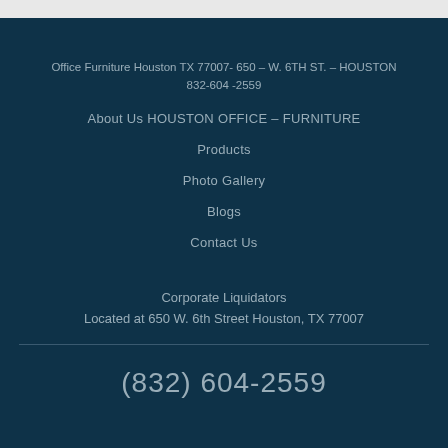Office Furniture Houston TX 77007- 650 – W. 6TH ST. – HOUSTON 832-604 -2559
About Us HOUSTON OFFICE – FURNITURE
Products
Photo Gallery
Blogs
Contact Us
Corporate Liquidators
Located at 650 W. 6th Street Houston, TX 77007
(832) 604-2559